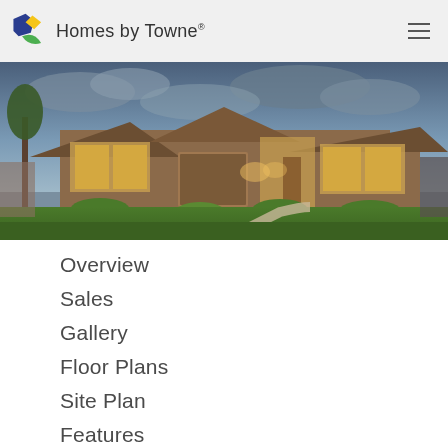Homes by Towne
[Figure (photo): Exterior photo of a large brick suburban home at dusk with dramatic cloudy sky, illuminated windows, manicured lawn and curved walkway]
Overview
Sales
Gallery
Floor Plans
Site Plan
Features
Quick Move-Ins
Amenities